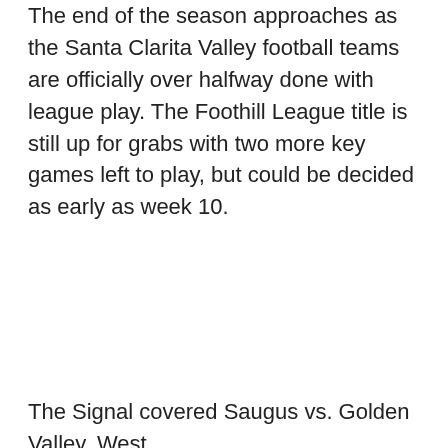The end of the season approaches as the Santa Clarita Valley football teams are officially over halfway done with league play. The Foothill League title is still up for grabs with two more key games left to play, but could be decided as early as week 10.
The Signal covered Saugus vs. Golden Valley, West